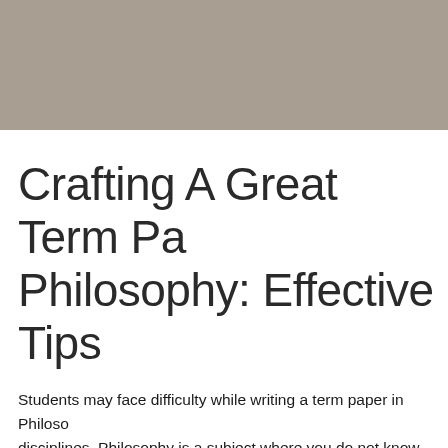[Figure (photo): Gray-brown colored hero image banner at the top of the page]
Crafting A Great Term Paper in Philosophy: Effective Tips
Students may face difficulty while writing a term paper in Philosophy compared to other disciplines. Philosophy is a subject where you do not know about the perspective of the other readers. Therefore, you should be careful while writing and follow these tips to follow during your writing:
Tips on mode of creating a...